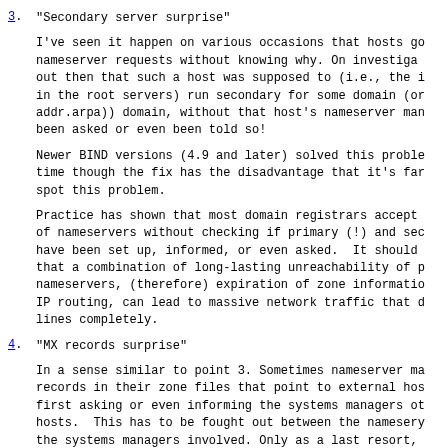3. "Secondary server surprise"
I've seen it happen on various occasions that hosts go nameserver requests without knowing why. On investiga out then that such a host was supposed to (i.e., the in the root servers) run secondary for some domain (or addr.arpa)) domain, without that host's nameserver man been asked or even been told so!
Newer BIND versions (4.9 and later) solved this proble time though the fix has the disadvantage that it's far spot this problem.
Practice has shown that most domain registrars accept of nameservers without checking if primary (!) and sec have been set up, informed, or even asked.  It should that a combination of long-lasting unreachability of p nameservers, (therefore) expiration of zone informatio IP routing, can lead to massive network traffic that d lines completely.
4. "MX records surprise"
In a sense similar to point 3. Sometimes nameserver ma records in their zone files that point to external hos first asking or even informing the systems managers ot hosts.  This has to be fought out between the namesery the systems managers involved. Only as a last resort, nothing helps to get the offending records removed, ca